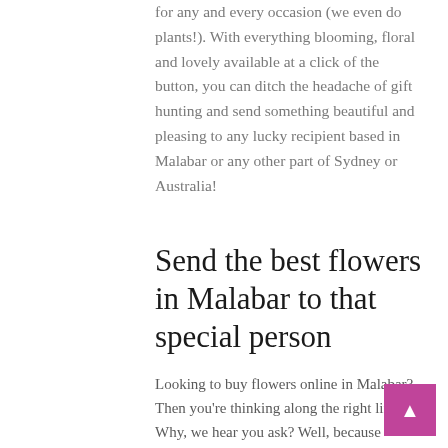for any and every occasion (we even do plants!). With everything blooming, floral and lovely available at a click of the button, you can ditch the headache of gift hunting and send something beautiful and pleasing to any lucky recipient based in Malabar or any other part of Sydney or Australia!
Send the best flowers in Malabar to that special person
Looking to buy flowers online in Malabar? Then you're thinking along the right lines. Why, we hear you ask? Well, because flowers are an all-round crowd